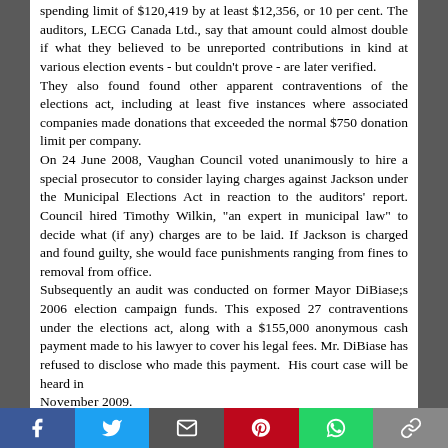spending limit of $120,419 by at least $12,356, or 10 per cent. The auditors, LECG Canada Ltd., say that amount could almost double if what they believed to be unreported contributions in kind at various election events - but couldn't prove - are later verified. They also found found other apparent contraventions of the elections act, including at least five instances where associated companies made donations that exceeded the normal $750 donation limit per company. On 24 June 2008, Vaughan Council voted unanimously to hire a special prosecutor to consider laying charges against Jackson under the Municipal Elections Act in reaction to the auditors' report. Council hired Timothy Wilkin, "an expert in municipal law" to decide what (if any) charges are to be laid. If Jackson is charged and found guilty, she would face punishments ranging from fines to removal from office. Subsequently an audit was conducted on former Mayor DiBiase;s 2006 election campaign funds. This exposed 27 contraventions under the elections act, along with a $155,000 anonymous cash payment made to his lawyer to cover his legal fees. Mr. DiBiase has refused to disclose who made this payment. His court case will be heard in November 2009.